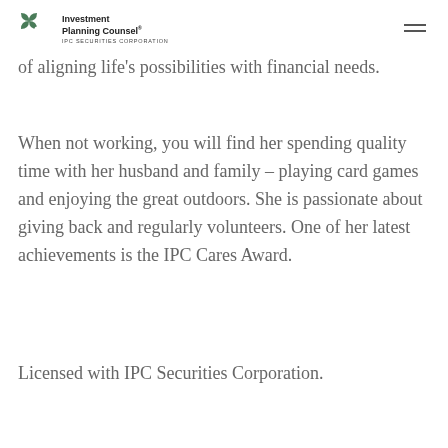Investment Planning Counsel® IPC SECURITIES CORPORATION
of aligning life's possibilities with financial needs.
When not working, you will find her spending quality time with her husband and family – playing card games and enjoying the great outdoors. She is passionate about giving back and regularly volunteers. One of her latest achievements is the IPC Cares Award.
Licensed with IPC Securities Corporation.